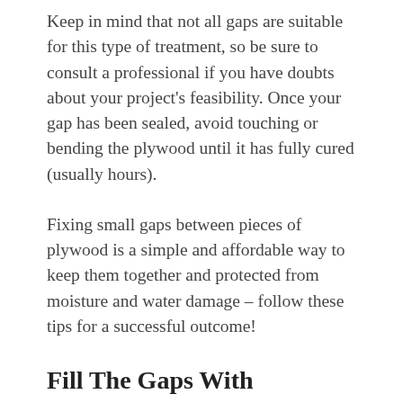Keep in mind that not all gaps are suitable for this type of treatment, so be sure to consult a professional if you have doubts about your project's feasibility. Once your gap has been sealed, avoid touching or bending the plywood until it has fully cured (usually hours).
Fixing small gaps between pieces of plywood is a simple and affordable way to keep them together and protected from moisture and water damage – follow these tips for a successful outcome!
Fill The Gaps With Polyurethane Foam
If you're noticing gaps between the boards of your plywood flooring, there are a few things you